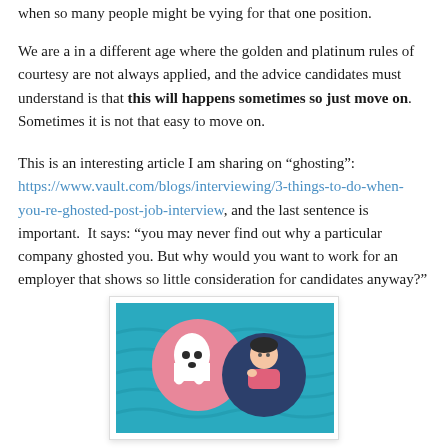when so many people might be vying for that one position.
We are a in a different age where the golden and platinum rules of courtesy are not always applied, and the advice candidates must understand is that this will happens sometimes so just move on. Sometimes it is not that easy to move on.
This is an interesting article I am sharing on “ghostingss”: https://www.vault.com/blogs/interviewing/3-things-to-do-when-you-re-ghosted-post-job-interview, and the last sentence is important. It says: “you may never find out why a particular company ghosted you. But why would you want to work for an employer that shows so little consideration for candidates anyway?”
[Figure (illustration): Illustration showing a ghost in a pink circle and a person in a dark blue circle on a teal/blue wavy background, representing job ghosting concept.]